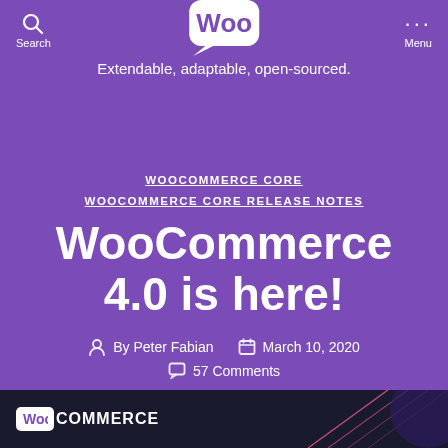Search | WooCommerce logo | Extendable, adaptable, open-sourced. | Menu
WOOCOMMERCE CORE
WOOCOMMERCE CORE RELEASE NOTES
WooCommerce 4.0 is here!
By Peter Fabian   March 10, 2020
57 Comments
[Figure (logo): WooCommerce logo at bottom with dark background, decorative diagonal pink lines]